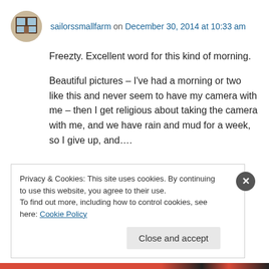sailorssmallfarm on December 30, 2014 at 10:33 am
Freezty. Excellent word for this kind of morning.
Beautiful pictures – I've had a morning or two like this and never seem to have my camera with me – then I get religious about taking the camera with me, and we have rain and mud for a week, so I give up, and….
↳ Reply
Privacy & Cookies: This site uses cookies. By continuing to use this website, you agree to their use.
To find out more, including how to control cookies, see here: Cookie Policy
Close and accept